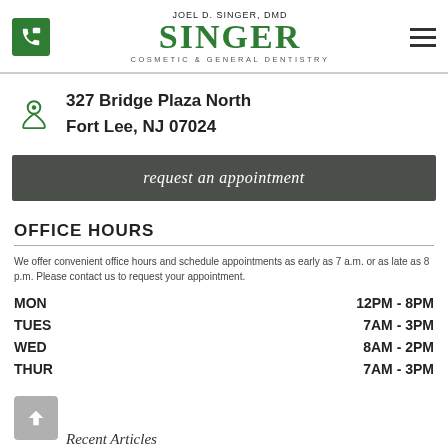JOEL D. SINGER, DMD SINGER COSMETIC & GENERAL DENTISTRY
327 Bridge Plaza North
Fort Lee, NJ 07024
request an appointment
OFFICE HOURS
We offer convenient office hours and schedule appointments as early as 7 a.m. or as late as 8 p.m. Please contact us to request your appointment.
| Day | Hours |
| --- | --- |
| MON | 12PM - 8PM |
| TUES | 7AM - 3PM |
| WED | 8AM - 2PM |
| THUR | 7AM - 3PM |
Recent Articles